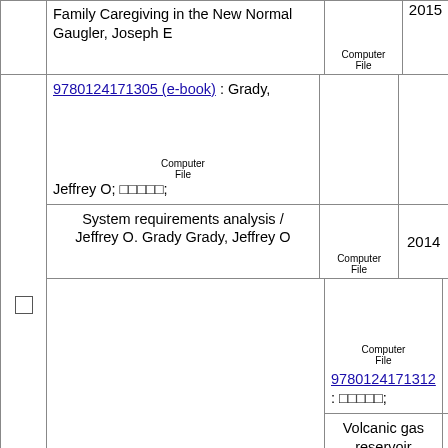|  | Entry | Type | Year |
| --- | --- | --- | --- |
| ☐ | Family Caregiving in the New Normal Gaugler, Joseph E | Computer File | 2015 |
| ☐ | 9780124171305 (e-book) : Grady, Jeffrey O; [symbols]; [Computer File icon] | Computer File |  |
|  | System requirements analysis / Jeffrey O. Grady Grady, Jeffrey O | Computer File | 2014 |
| ☐ | 9780124171312 : [symbols]; [Computer File icon] | Computer File |  |
|  | Volcanic gas reservoir characterization / Qiquan Ran [and four others] | Computer File | 2014 |
| ☐ | 9780124171329 / (electronic bk.) : Ramachandran, Kandethody M; Department of Information Technology Services; [Computer File icon] | Computer File |  |
|  | Mathematical Statistics with Applications in R Ramachandran, Kandethody M | Computer File | 2014 |